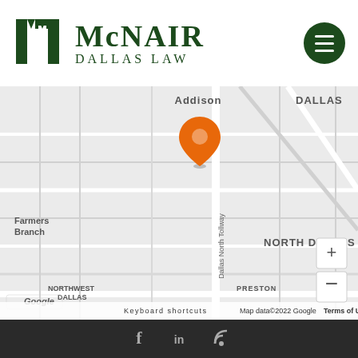[Figure (logo): McNair Dallas Law logo with green column/M icon and serif text]
[Figure (map): Google Maps screenshot showing Addison, Dallas, North Dallas, Farmers Branch, Dallas North Tollway, Northwest Dallas, Preston areas with orange location pin marker near Addison]
[Figure (other): Dark footer bar with social media icons: Facebook (f), LinkedIn (in), RSS feed symbol]